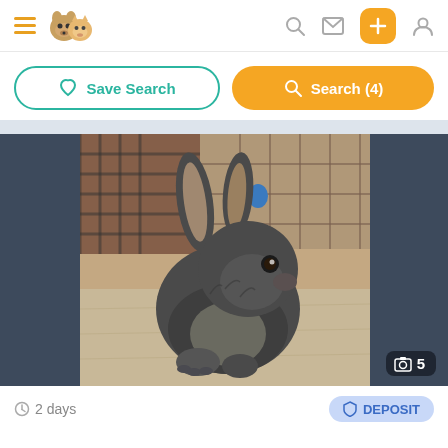[Figure (screenshot): Pet adoption app navigation bar with hamburger menu, dog and cat logo, search icon, mail icon, orange plus button, and user icon]
[Figure (other): Save Search button (teal outline, heart icon) and Search (4) button (orange, magnifier icon)]
[Figure (photo): Photo of a gray/dark rabbit sitting on concrete with a cage in the background. Photo counter badge shows camera icon and 5.]
2 days
DEPOSIT